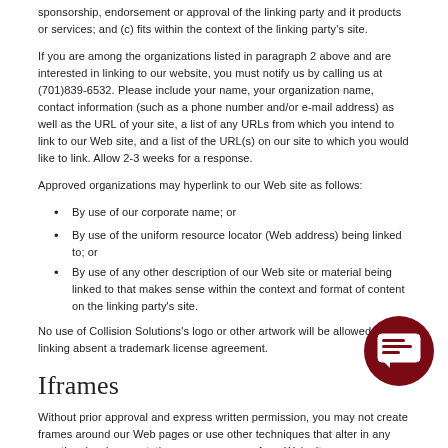sponsorship, endorsement or approval of the linking party and it products or services; and (c) fits within the context of the linking party's site.
If you are among the organizations listed in paragraph 2 above and are interested in linking to our website, you must notify us by calling us at (701)839-6532. Please include your name, your organization name, contact information (such as a phone number and/or e-mail address) as well as the URL of your site, a list of any URLs from which you intend to link to our Web site, and a list of the URL(s) on our site to which you would like to link. Allow 2-3 weeks for a response.
Approved organizations may hyperlink to our Web site as follows:
By use of our corporate name; or
By use of the uniform resource locator (Web address) being linked to; or
By use of any other description of our Web site or material being linked to that makes sense within the context and format of content on the linking party's site.
No use of Collision Solutions's logo or other artwork will be allowed for linking absent a trademark license agreement.
Iframes
Without prior approval and express written permission, you may not create frames around our Web pages or use other techniques that alter in any way the visual presentation or appearance of our Web site.
Content Liability
We shall have no responsibility or liability for any content appearing on your Website. You agree to indemnify and defend us against all claims arising out of or based upon your